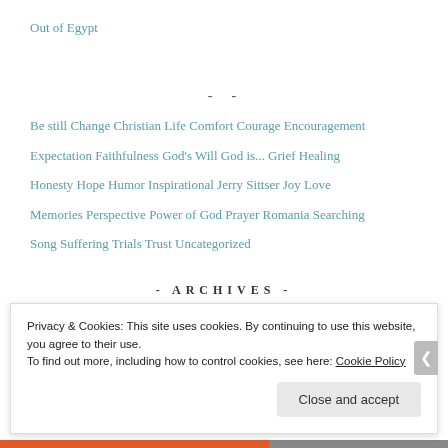Out of Egypt
- -
Be still  Change  Christian Life  Comfort  Courage  Encouragement  Expectation  Faithfulness  God's Will  God is...  Grief  Healing  Honesty  Hope  Humor  Inspirational  Jerry Sittser  Joy  Love  Memories  Perspective  Power of God  Prayer  Romania  Searching  Song  Suffering  Trials  Trust  Uncategorized
- ARCHIVES -
Privacy & Cookies: This site uses cookies. By continuing to use this website, you agree to their use.
To find out more, including how to control cookies, see here: Cookie Policy
Close and accept